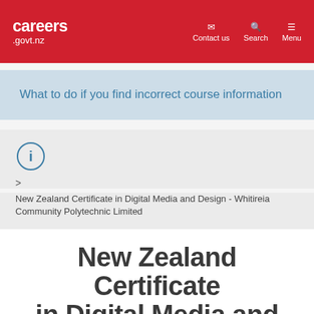careers .govt.nz | Contact us | Search | Menu
What to do if you find incorrect course information
[Figure (infographic): Info icon circle with breadcrumb arrow]
New Zealand Certificate in Digital Media and Design - Whitireia Community Polytechnic Limited
New Zealand Certificate in Digital Media and Design